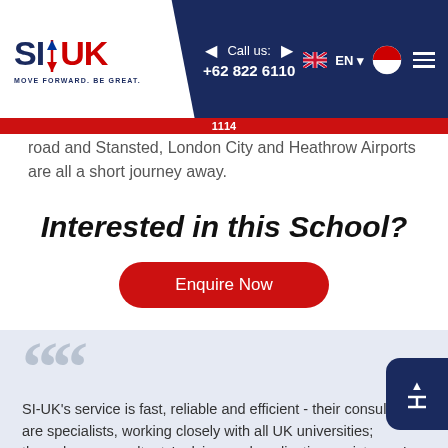SI-UK | MOVE FORWARD. BE GREAT. | Call us: +62 822 6110 1114 | EN
road and Stansted, London City and Heathrow Airports are all a short journey away.
Interested in this School?
Enquire Now
SI-UK's service is fast, reliable and efficient - their consultants are specialists, working closely with all UK universities; through my consultants' advice, and application assistance I was